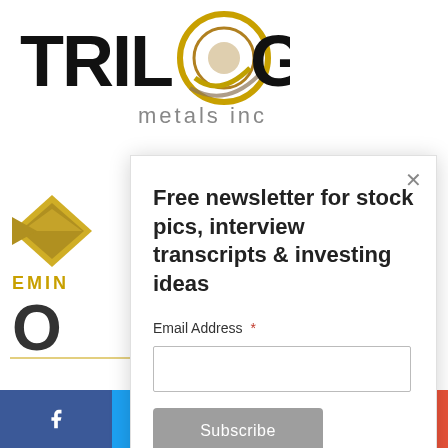[Figure (logo): Trilogy Metals Inc logo with company name]
[Figure (screenshot): Newsletter subscription modal popup with close button, email input field, and Subscribe button. Text: Free newsletter for stock pics, interview transcripts & investing ideas. Email Address field with asterisk. Subscribe button.]
[Figure (infographic): Social sharing bar at bottom with Facebook, Twitter, Email, and Plus buttons]